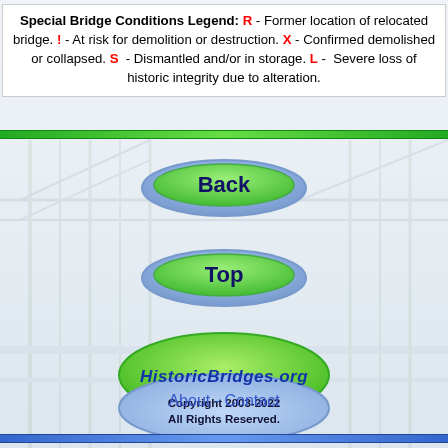Special Bridge Conditions Legend: R - Former location of relocated bridge. ! - At risk for demolition or destruction. X - Confirmed demolished or collapsed. S - Dismantled and/or in storage. L - Severe loss of historic integrity due to alteration.
[Figure (other): Green horizontal rule divider]
[Figure (other): Back navigation button - blue/green pill-shaped button]
[Figure (other): Top navigation button - blue/green pill-shaped button]
[Figure (logo): HistoricBridges.org logo with green oval and blue oval containing copyright text]
About - Contact
[Figure (other): Blue horizontal rule divider at bottom]